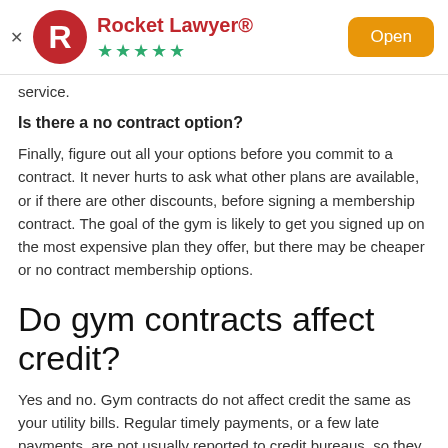[Figure (logo): Rocket Lawyer app banner with red circle R logo, brand name 'Rocket Lawyer®', five green stars, and an orange 'Open' button]
service.
Is there a no contract option?
Finally, figure out all your options before you commit to a contract. It never hurts to ask what other plans are available, or if there are other discounts, before signing a membership contract. The goal of the gym is likely to get you signed up on the most expensive plan they offer, but there may be cheaper or no contract membership options.
Do gym contracts affect credit?
Yes and no. Gym contracts do not affect credit the same as your utility bills. Regular timely payments, or a few late payments, are not usually reported to credit bureaus, so they